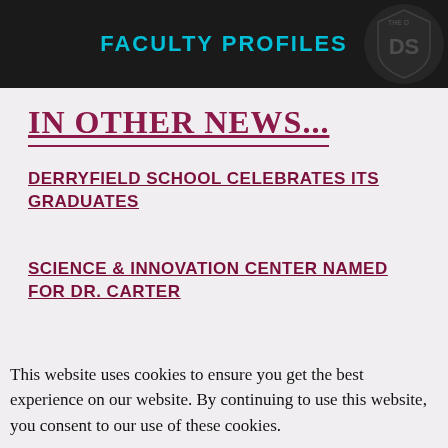FACULTY PROFILES
IN OTHER NEWS...
DERRYFIELD SCHOOL CELEBRATES ITS GRADUATES
SCIENCE & INNOVATION CENTER NAMED FOR DR. CARTER
X
This website uses cookies to ensure you get the best experience on our website. By continuing to use this website, you consent to our use of these cookies.